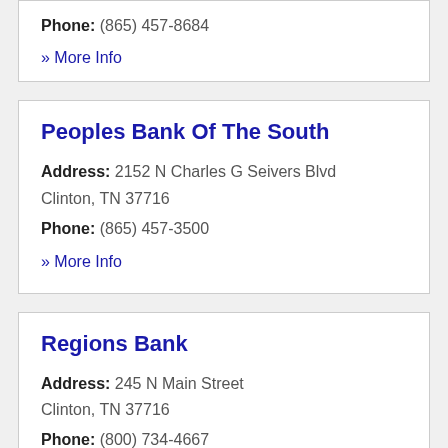Phone: (865) 457-8684
» More Info
Peoples Bank Of The South
Address: 2152 N Charles G Seivers Blvd Clinton, TN 37716
Phone: (865) 457-3500
» More Info
Regions Bank
Address: 245 N Main Street Clinton, TN 37716
Phone: (800) 734-4667
» More Info